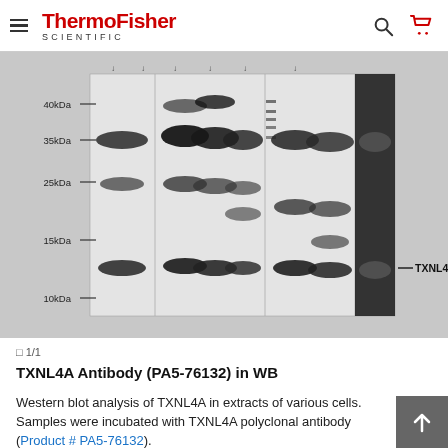ThermoFisher SCIENTIFIC
[Figure (other): Western blot image showing TXNL4A protein bands in various cell extracts. Molecular weight markers shown on left: 40kDa, 35kDa, 25kDa, 15kDa, 10kDa. Multiple lanes with bands visible at ~35kDa and ~12kDa. Label 'TXNL4A' with arrow on right side pointing to lower band.]
❐ 1/1
TXNL4A Antibody (PA5-76132) in WB
Western blot analysis of TXNL4A in extracts of various cells. Samples were incubated with TXNL4A polyclonal antibody (Product # PA5-76132).